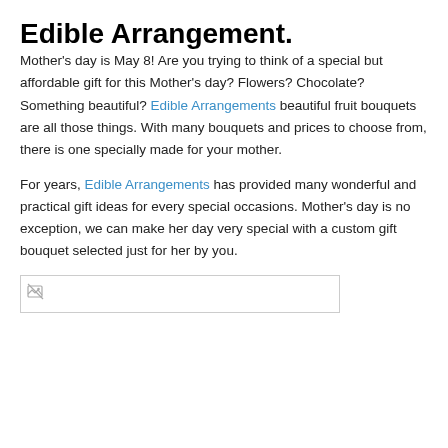Edible Arrangement.
Mother’s day is May 8! Are you trying to think of a special but affordable gift for this Mother’s day? Flowers? Chocolate? Something beautiful? Edible Arrangements beautiful fruit bouquets are all those things. With many bouquets and prices to choose from, there is one specially made for your mother.
For years, Edible Arrangements has provided many wonderful and practical gift ideas for every special occasions. Mother’s day is no exception, we can make her day very special with a custom gift bouquet selected just for her by you.
[Figure (photo): Broken image placeholder]